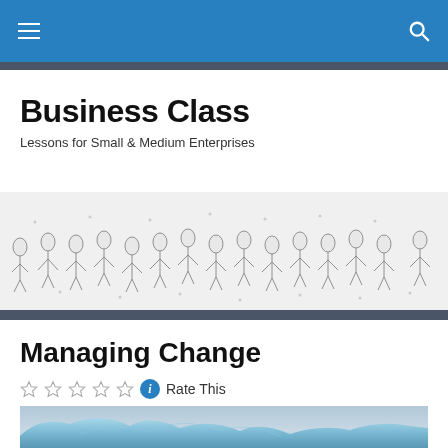Business Class
Business Class
Lessons for Small & Medium Enterprises
[Figure (illustration): Black and white crowd illustration banner showing many people in various poses]
Managing Change
Rate This
[Figure (photo): Iceberg photograph with blue-tinted ice and cloudy sky]